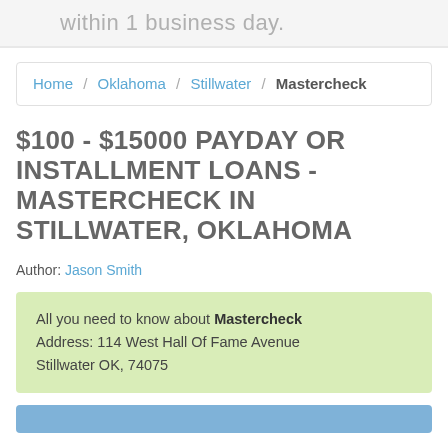within 1 business day.
Home / Oklahoma / Stillwater / Mastercheck
$100 - $15000 PAYDAY OR INSTALLMENT LOANS - MASTERCHECK IN STILLWATER, OKLAHOMA
Author: Jason Smith
All you need to know about Mastercheck Address: 114 West Hall Of Fame Avenue Stillwater OK, 74075